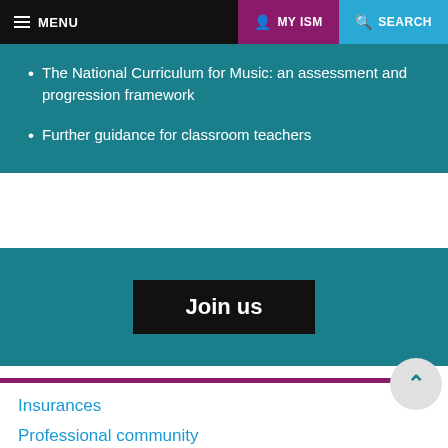MENU | MY ISM | SEARCH
The National Curriculum for Music: an assessment and progression framework
Further guidance for classroom teachers
Join us
Insurances
Professional community